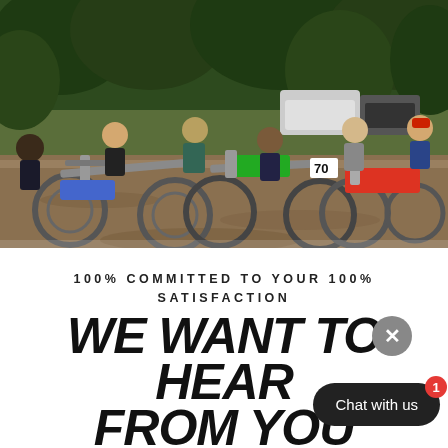[Figure (photo): Group of young men sitting on dirt bikes / motocross bikes on a dirt path surrounded by trees and parked vehicles in background]
100% COMMITTED TO YOUR 100% SATISFACTION
WE WANT TO HEAR FROM YOU
Free Sticker Pack
GET MINE
Chat with us